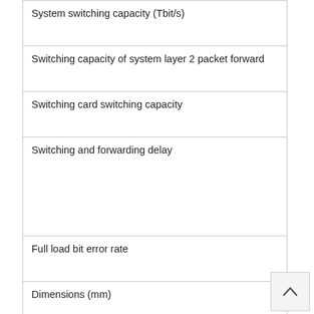| System switching capacity (Tbit/s) |
| Switching capacity of system layer 2 packet forward |
| Switching card switching capacity |
| Switching and forwarding delay |
| Full load bit error rate |
| Dimensions (mm) |
| Weight(kg) |